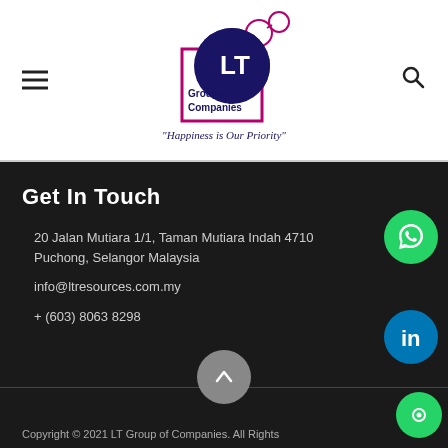[Figure (logo): LT Group of Companies logo with tagline 'Happiness is Our Priority']
Get In Touch
20 Jalan Mutiara 1/1, Taman Mutiara Indah 4710, Puchong, Selangor Malaysia
info@ltresources.com.my
+ (603) 8063 8298
Copyright © 2021 LT Group of Companies. All Rights